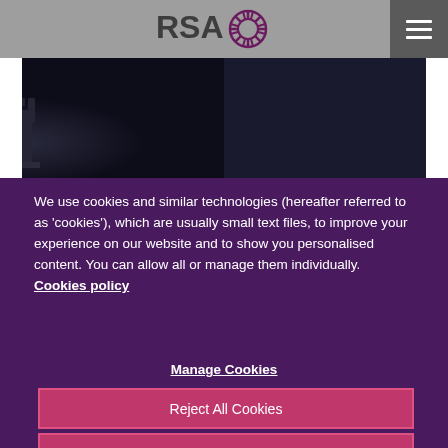[Figure (logo): RSA Insurance logo with sunburst/circle icon in dark purple/maroon, text RSA in dark grey]
[Figure (photo): Dark background photo with a chess piece (rook or tower) silhouette in the center]
We use cookies and similar technologies (hereafter referred to as 'cookies'), which are usually small text files, to improve your experience on our website and to show you personalised content. You can allow all or manage them individually. Cookies policy
Manage Cookies
Reject All Cookies
Allow All Cookies